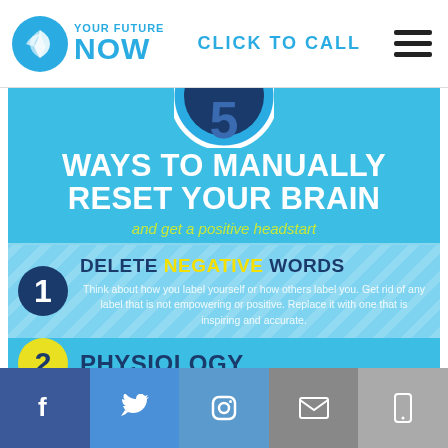YOUR FUTURE NOW | CLICK TO CALL
[Figure (infographic): Infographic: '5 Ways to Manually Reset Your Brain and get a positive headstart'. Shows step 1: DELETE NEGATIVE WORDS with description text. Shows step 2: PHYSIOLOGY partially visible. Has circular number badges.]
Social media icons: Facebook, Twitter, Instagram, Email, Mobile